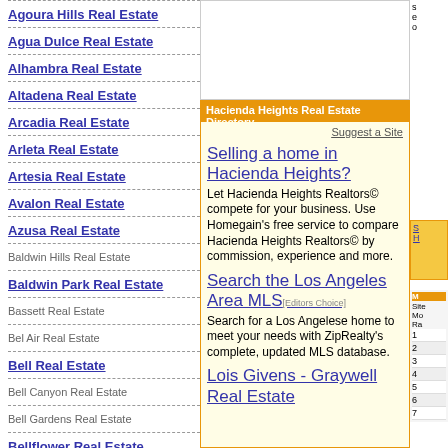Agoura Hills Real Estate
Agua Dulce Real Estate
Alhambra Real Estate
Altadena Real Estate
Arcadia Real Estate
Arleta Real Estate
Artesia Real Estate
Avalon Real Estate
Azusa Real Estate
Baldwin Hills Real Estate
Baldwin Park Real Estate
Bassett Real Estate
Bel Air Real Estate
Bell Real Estate
Bell Canyon Real Estate
Bell Gardens Real Estate
Bellflower Real Estate
Belmont Shore Real Estate
Beverly Hills Real Estate
Box Canyon Real Estate
Bradbury Real Estate
Hacienda Heights Real Estate Directory
Suggest a Site
Selling a home in Hacienda Heights? Let Hacienda Heights Realtors© compete for your business. Use Homegain's free service to compare Hacienda Heights Realtors© by commission, experience and more.
Search the Los Angeles Area MLS [Editors Choice] Search for a Los Angelese home to meet your needs with ZipRealty's complete, updated MLS database.
Lois Givens - Graywell Real Estate